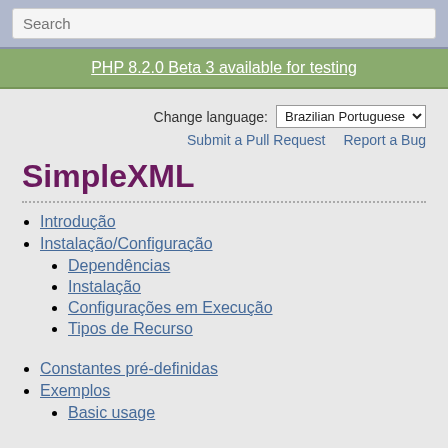Search
PHP 8.2.0 Beta 3 available for testing
Change language: Brazilian Portuguese
Submit a Pull Request   Report a Bug
SimpleXML
Introdução
Instalação/Configuração
Dependências
Instalação
Configurações em Execução
Tipos de Recurso
Constantes pré-definidas
Exemplos
Basic usage